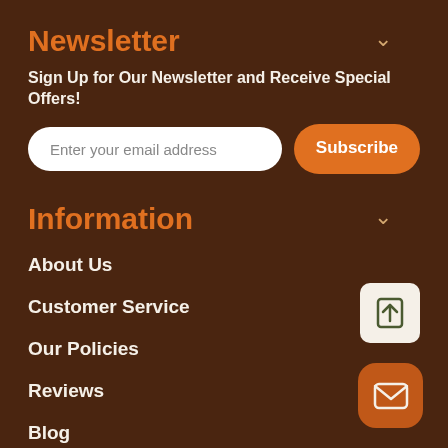Newsletter
Sign Up for Our Newsletter and Receive Special Offers!
Enter your email address
Subscribe
Information
About Us
Customer Service
Our Policies
Reviews
Blog
Rewards Program